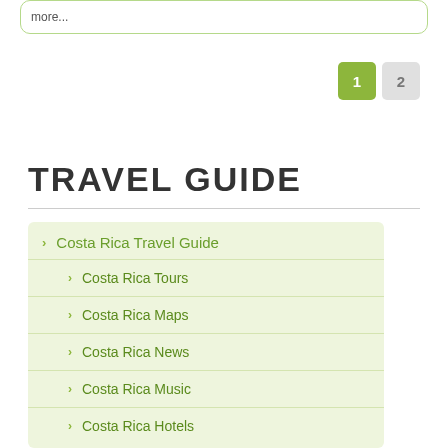more...
1  2
TRAVEL GUIDE
> Costa Rica Travel Guide
> Costa Rica Tours
> Costa Rica Maps
> Costa Rica News
> Costa Rica Music
> Costa Rica Hotels